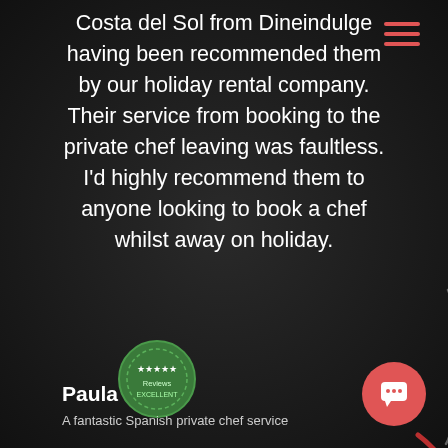Costa del Sol from Dineindulge having been recommended them by our holiday rental company. Their service from booking to the private chef leaving was faultless. I'd highly recommend them to anyone looking to book a chef whilst away on holiday.
[Figure (logo): Green circular badge with star ratings]
Paula
A fantastic Spanish private chef service